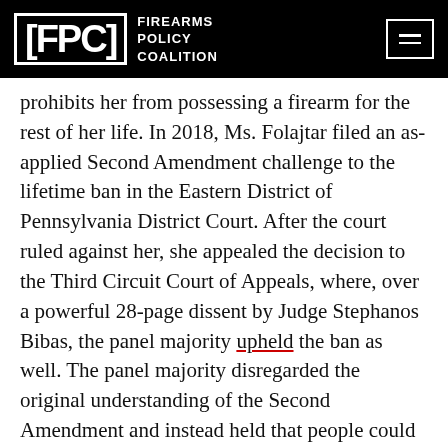FPC FIREARMS POLICY COALITION
prohibits her from possessing a firearm for the rest of her life. In 2018, Ms. Folajtar filed an as-applied Second Amendment challenge to the lifetime ban in the Eastern District of Pennsylvania District Court. After the court ruled against her, she appealed the decision to the Third Circuit Court of Appeals, where, over a powerful 28-page dissent by Judge Stephanos Bibas, the panel majority upheld the ban as well. The panel majority disregarded the original understanding of the Second Amendment and instead held that people could be denied the right to keep and bear arms if they lacked “virtue.” But as Judge Bibas explained in his dissent, historical evidence shows that the founders never intended